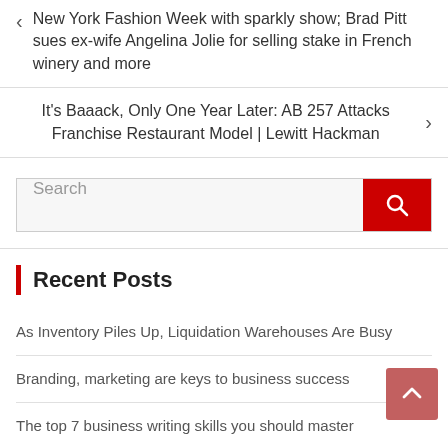< New York Fashion Week with sparkly show; Brad Pitt sues ex-wife Angelina Jolie for selling stake in French winery and more
It's Baaack, Only One Year Later: AB 257 Attacks Franchise Restaurant Model | Lewitt Hackman >
[Figure (other): Search input box with red search button containing a magnifying glass icon]
Recent Posts
As Inventory Piles Up, Liquidation Warehouses Are Busy
Branding, marketing are keys to business success
The top 7 business writing skills you should master